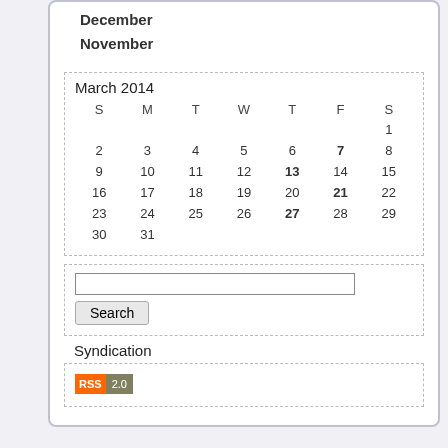December
November
| S | M | T | W | T | F | S |
| --- | --- | --- | --- | --- | --- | --- |
|  |  |  |  |  |  | 1 |
| 2 | 3 | 4 | 5 | 6 | 7 | 8 |
| 9 | 10 | 11 | 12 | 13 | 14 | 15 |
| 16 | 17 | 18 | 19 | 20 | 21 | 22 |
| 23 | 24 | 25 | 26 | 27 | 28 | 29 |
| 30 | 31 |  |  |  |  |  |
Search
Syndication
[Figure (logo): RSS 2.0 badge with orange RSS label and gray 2.0 text]